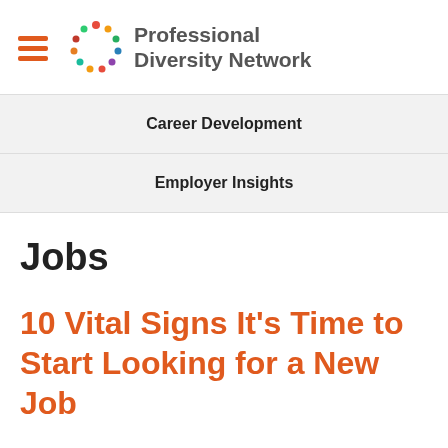Professional Diversity Network
Career Development
Employer Insights
Jobs
10 Vital Signs It’s Time to Start Looking for a New Job